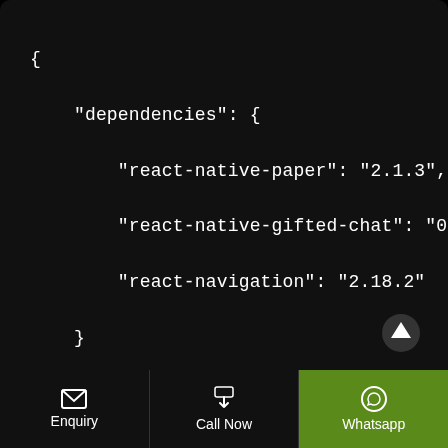{

    "dependencies": {

        "react-native-paper": "2.1.3",

        "react-native-gifted-chat": "0.4.3",

        "react-navigation": "2.18.2"

    }

}
Enquiry | Call Now | Whatsapp